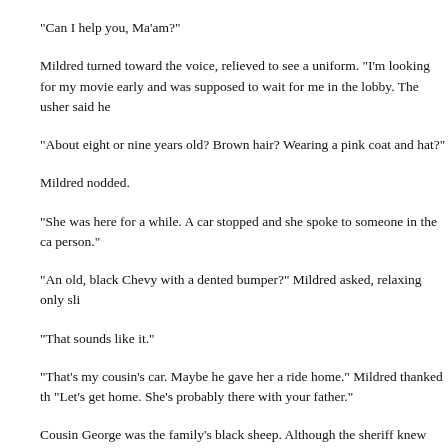“Can I help you, Ma’am?”
Mildred turned toward the voice, relieved to see a uniform. “I’m looking for my movie early and was supposed to wait for me in the lobby. The usher said he
“About eight or nine years old? Brown hair? Wearing a pink coat and hat?”
Mildred nodded.
“She was here for a while. A car stopped and she spoke to someone in the ca person.”
“An old, black Chevy with a dented bumper?” Mildred asked, relaxing only sli
“That sounds like it.”
“That’s my cousin’s car. Maybe he gave her a ride home.” Mildred thanked th “Let’s get home. She’s probably there with your father.”
Cousin George was the family’s black sheep. Although the sheriff knew him w known to hurt anyone. Still, his wild streak made her uneasy.
When she got Tomás to wait, Mildred asked him about the damage to the